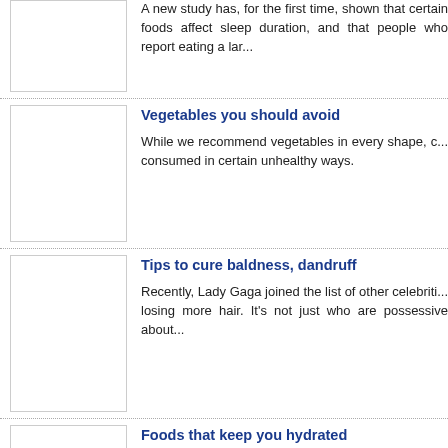A new study has, for the first time, shown that certain foods affect sleep duration, and that people who report eating a large...
Vegetables you should avoid
While we recommend vegetables in every shape, color... consumed in certain unhealthy ways.
Tips to cure baldness, dandruff
Recently, Lady Gaga joined the list of other celebrities... losing more hair. It's not just who are possessive about...
Foods that keep you hydrated